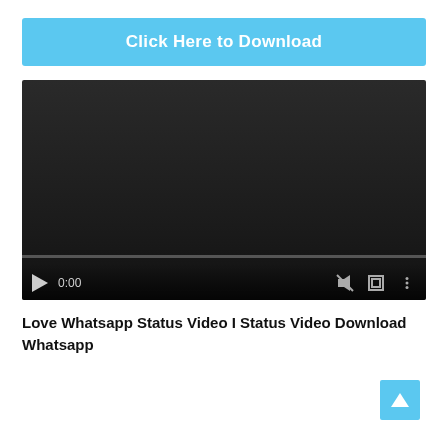Click Here to Download
[Figure (screenshot): Video player showing black/dark screen with play button, time 0:00, mute icon, fullscreen icon, and overflow menu icon, with a progress bar at the bottom]
Love Whatsapp Status Video I Status Video Download Whatsapp